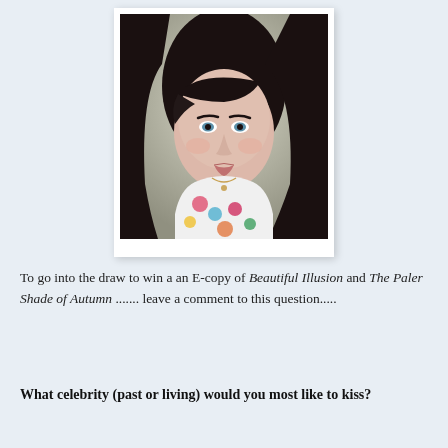[Figure (photo): Portrait photo of a young woman with dark hair, blue eyes, and a floral top, smiling at the camera against a neutral background.]
To go into the draw to win a an E-copy of Beautiful Illusion and The Paler Shade of Autumn ....... leave a comment to this question.....
What celebrity (past or living) would you most like to kiss?